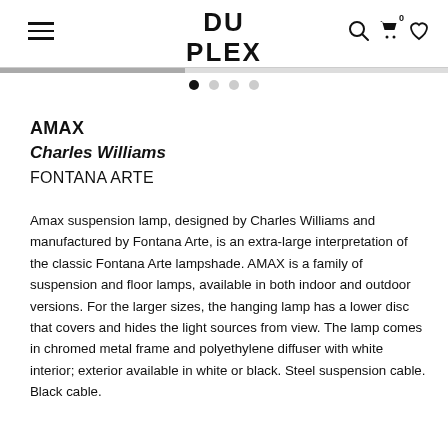DU PLEX
AMAX
Charles Williams
FONTANA ARTE
Amax suspension lamp, designed by Charles Williams and manufactured by Fontana Arte, is an extra-large interpretation of the classic Fontana Arte lampshade. AMAX is a family of suspension and floor lamps, available in both indoor and outdoor versions. For the larger sizes, the hanging lamp has a lower disc that covers and hides the light sources from view. The lamp comes in chromed metal frame and polyethylene diffuser with white interior; exterior available in white or black. Steel suspension cable. Black cable.